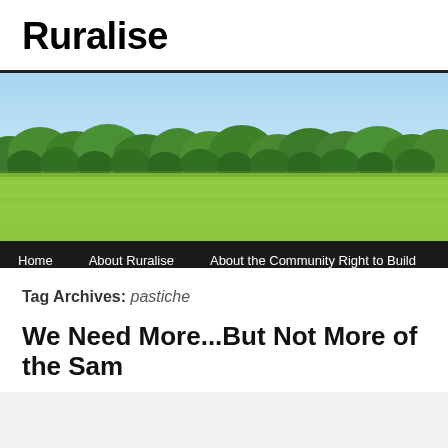Ruralise
[Figure (photo): Rural landscape photo showing green fields in the foreground, a line of trees in the middle ground, and a clear blue sky above. Navigation bar below with links: Home, About Ruralise, About the Community Right to Build, Abo...]
Tag Archives: pastiche
We Need More...But Not More of the Sam